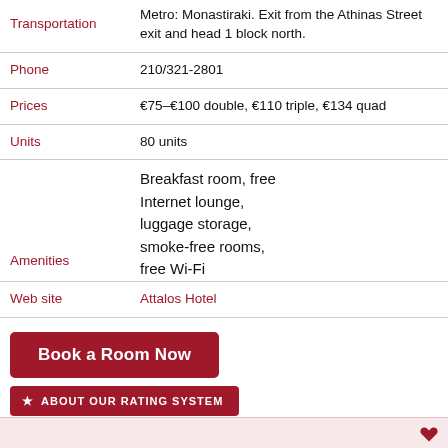| Label | Value |
| --- | --- |
| Transportation | Metro: Monastiraki. Exit from the Athinas Street exit and head 1 block north. |
| Phone | 210/321-2801 |
| Prices | €75–€100 double, €110 triple, €134 quad |
| Units | 80 units |
| Amenities | Breakfast room, free Internet lounge, luggage storage, smoke-free rooms, free Wi-Fi |
| Web site | Attalos Hotel |
Book a Room Now
★ ABOUT OUR RATING SYSTEM